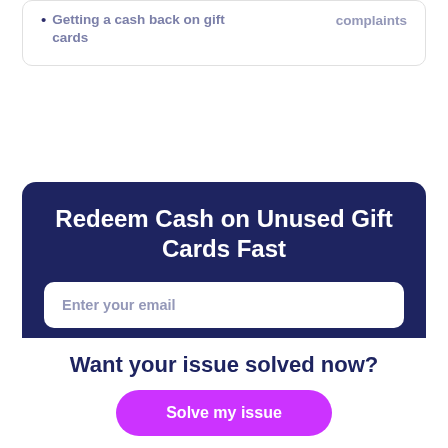Getting a cash back on gift cards
complaints
Redeem Cash on Unused Gift Cards Fast
Enter your email
Get Started
Want your issue solved now?
Solve my issue